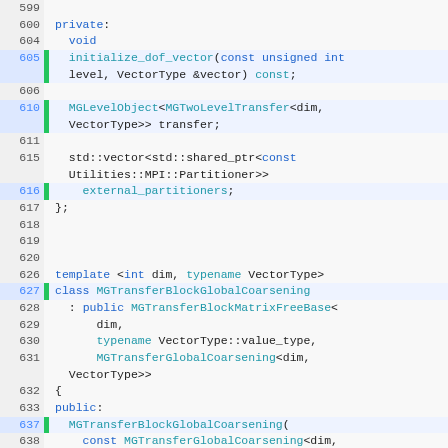[Figure (screenshot): Source code viewer showing C++ class definitions for MGTransferBlockGlobalCoarsening, with line numbers, green gutter highlights on certain lines, and syntax coloring (blue for keywords/identifiers, teal for types/keywords, gray for default text).]